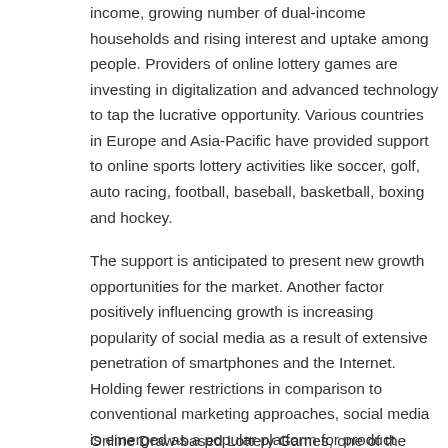income, growing number of dual-income households and rising interest and uptake among people. Providers of online lottery games are investing in digitalization and advanced technology to tap the lucrative opportunity. Various countries in Europe and Asia-Pacific have provided support to online sports lottery activities like soccer, golf, auto racing, football, baseball, basketball, boxing and hockey.
The support is anticipated to present new growth opportunities for the market. Another factor positively influencing growth is increasing popularity of social media as a result of extensive penetration of smartphones and the Internet. Holding fewer restrictions in comparison to conventional marketing approaches, social media is emerged as a popular platform for product promotions and advertising for online lottery providers.
Online Draw-based Lottery Games, one of the segments analyzed in the report, is projected to grow at a 8.6% CAGR